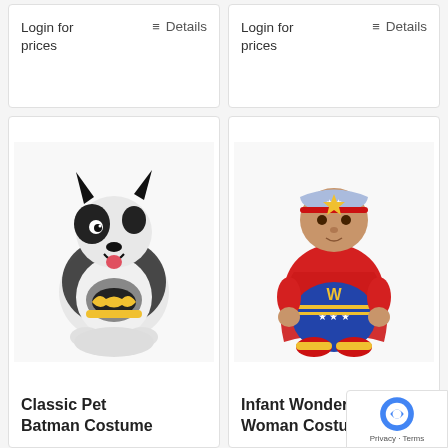Login for prices
≡ Details
Login for prices
≡ Details
[Figure (photo): Dog dressed in Classic Pet Batman Costume — black and gray batman cape with batman logo on chest, sitting on white background]
Classic Pet Batman Costume
[Figure (photo): Baby/infant in Wonder Woman costume — red outfit with gold WW logo, blue star-spangled shorts, red cape, and a Wonder Woman tiara headband]
Infant Wonder Woman Costume